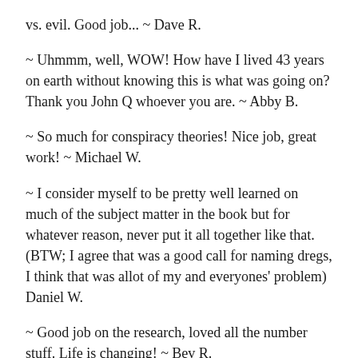vs. evil. Good job... ~ Dave R.
~ Uhmmm, well, WOW! How have I lived 43 years on earth without knowing this is what was going on? Thank you John Q whoever you are. ~ Abby B.
~ So much for conspiracy theories! Nice job, great work! ~ Michael W.
~ I consider myself to be pretty well learned on much of the subject matter in the book but for whatever reason, never put it all together like that. (BTW; I agree that was a good call for naming dregs, I think that was allot of my and everyones' problem) Daniel W.
~ Good job on the research, loved all the number stuff. Life is changing! ~ Bev R.
~ Great book, but it shouldn't be free. ~ Donald V.